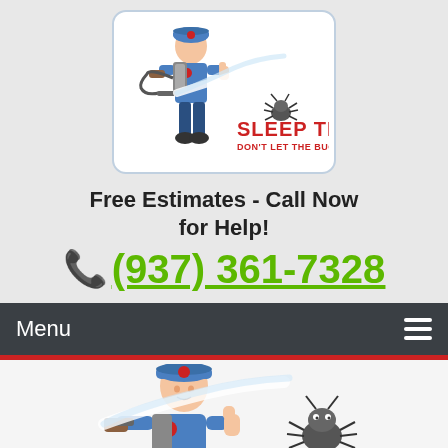[Figure (logo): Sleep Tight pest control logo: cartoon exterminator in blue uniform spraying, with a running bug. Text: SLEEP TIGHT / DON'T LET THE BUGS BITE]
Free Estimates - Call Now for Help!
(937) 361-7328
Menu
[Figure (logo): Sleep Tight pest control logo larger version: cartoon exterminator in blue uniform with spray hose, bug running away. Text at bottom: SLEEP TIGHT]